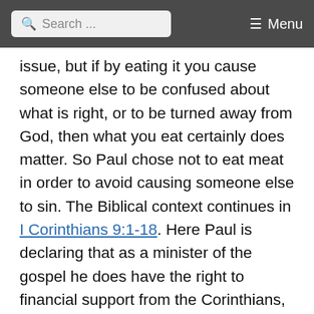Search ... Menu
issue, but if by eating it you cause someone else to be confused about what is right, or to be turned away from God, then what you eat certainly does matter. So Paul chose not to eat meat in order to avoid causing someone else to sin. The Biblical context continues in I Corinthians 9:1-18. Here Paul is declaring that as a minister of the gospel he does have the right to financial support from the Corinthians, so that he can focus his time and energy of sharing God’s word. But Paul gives up that right, not because he isn’t entitled to it, but so that he is under no obligation to anyone but Christ. For this reason he can bring the message to both Jews and Gentiles. He uses his own life experiences to make